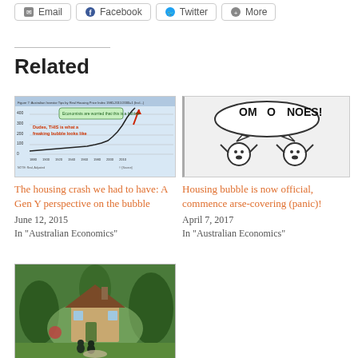Email | Facebook | Twitter | More
Related
[Figure (screenshot): Screenshot of a line chart about housing prices with annotations: 'Economists are worried that this is a bubble' and 'Dudes, THIS is what a freaking bubble looks like' with a red arrow pointing upward]
The housing crash we had to have: A Gen Y perspective on the bubble
June 12, 2015
In "Australian Economics"
[Figure (illustration): Cartoon illustration showing two shocked emoji-style face characters with speech bubbles saying 'OM O NOES!']
Housing bubble is now official, commence arse-covering (panic)!
April 7, 2017
In "Australian Economics"
[Figure (illustration): Fantasy illustration of a storybook cottage/house in a forest setting with figures approaching]